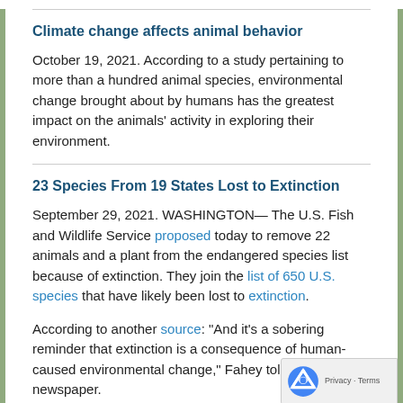Climate change affects animal behavior
October 19, 2021. According to a study pertaining to more than a hundred animal species, environmental change brought about by humans has the greatest impact on the animals' activity in exploring their environment.
23 Species From 19 States Lost to Extinction
September 29, 2021. WASHINGTON— The U.S. Fish and Wildlife Service proposed today to remove 22 animals and a plant from the endangered species list because of extinction. They join the list of 650 U.S. species that have likely been lost to extinction.
According to another source: "And it's a sobering reminder that extinction is a consequence of human-caused environmental change," Fahey told the newspaper.
Cities are making mammals bigger
August 16, 2021. While climate change is causing some animals to shrink, a new study shows urbanization is causing many mammal species to grow both bigger and longer, possibly because of readily available food in places packed with people.